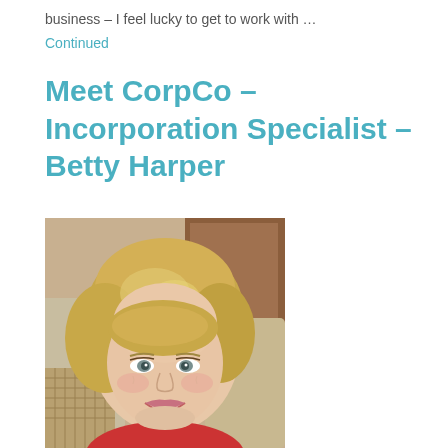business – I feel lucky to get to work with …
Continued
Meet CorpCo – Incorporation Specialist – Betty Harper
[Figure (photo): Portrait photo of Betty Harper, a smiling blonde woman wearing a red top, resting against cushions in an indoor setting with a wooden door visible in the background.]